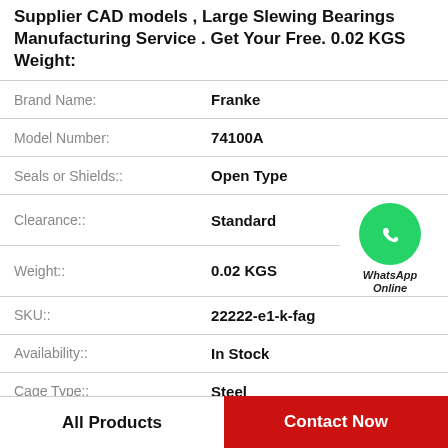Supplier CAD models , Large Slewing Bearings Manufacturing Service . Get Your Free. 0.02 KGS Weight:
| Attribute | Value |
| --- | --- |
| Brand Name: | Franke |
| Model Number: | 74100A |
| Seals or Shields:: | Open Type |
| Clearance:: | Standard |
| Weight:: | 0.02 KGS |
| SKU:: | 22222-e1-k-fag |
| Availability:: | In Stock |
| Cage Type:: | Steel |
[Figure (logo): WhatsApp Online green circle icon with phone handset, labeled WhatsApp Online]
All Products
Contact Now